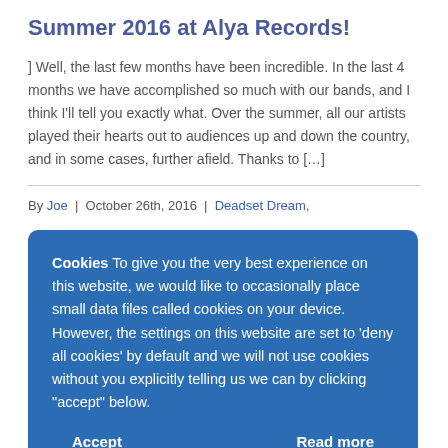Summer 2016 at Alya Records!
] Well, the last few months have been incredible. In the last 4 months we have accomplished so much with our bands, and I think I'll tell you exactly what. Over the summer, all our artists played their hearts out to audiences up and down the country, and in some cases, further afield. Thanks to [...]
By Joe | October 26th, 2016 | Deadset Dream,
Cookies To give you the very best experience on this website, we would like to occasionally place small data files called cookies on your device. However, the settings on this website are set to 'deny all cookies' by default and we will not use cookies without you explicitly telling us we can by clicking "accept" below.
Accept | Read more
things are happening. Over the past year, the Alya Records Roster has gone out into the